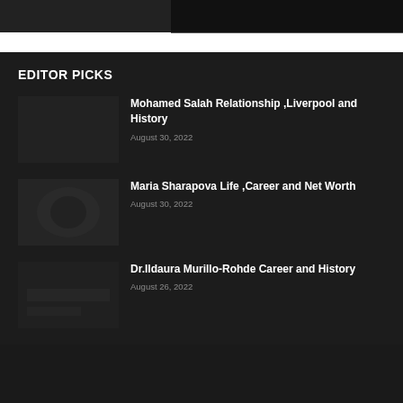EDITOR PICKS
Mohamed Salah Relationship ,Liverpool and History
August 30, 2022
Maria Sharapova Life ,Career and Net Worth
August 30, 2022
Dr.Ildaura Murillo-Rohde Career and History
August 26, 2022